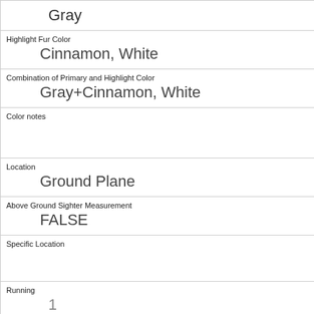| Gray |
| Highlight Fur Color | Cinnamon, White |
| Combination of Primary and Highlight Color | Gray+Cinnamon, White |
| Color notes |  |
| Location | Ground Plane |
| Above Ground Sighter Measurement | FALSE |
| Specific Location |  |
| Running | 1 |
| Chasing | 0 |
| Climbing | 0 |
| Eating | 0 |